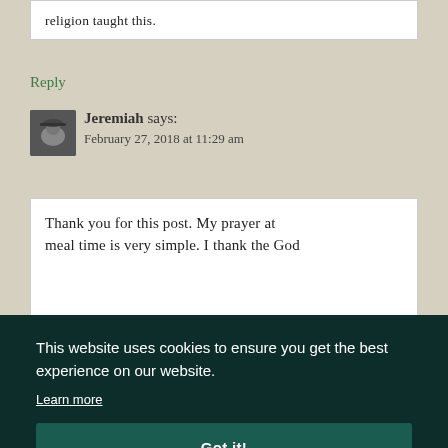religion taught this.
Reply
Jeremiah says:
February 27, 2018 at 11:29 am
Thank you for this post. My prayer at meal time is very simple. I thank the God
This website uses cookies to ensure you get the best experience on our website.
Learn more
Got it!